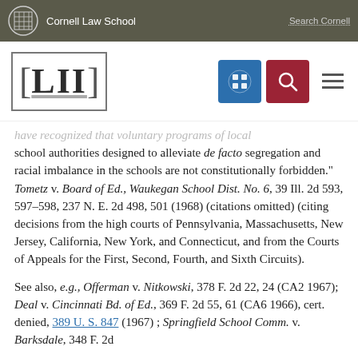Cornell Law School  Search Cornell
[Figure (logo): LII Legal Information Institute logo with bracket design and navigation icons (grid icon in blue, search icon in red, hamburger menu)]
have recognized that voluntary programs of local school authorities designed to alleviate de facto segregation and racial imbalance in the schools are not constitutionally forbidden." Tometz v. Board of Ed., Waukegan School Dist. No. 6, 39 Ill. 2d 593, 597–598, 237 N. E. 2d 498, 501 (1968) (citations omitted) (citing decisions from the high courts of Pennsylvania, Massachusetts, New Jersey, California, New York, and Connecticut, and from the Courts of Appeals for the First, Second, Fourth, and Sixth Circuits).
See also, e.g., Offerman v. Nitkowski, 378 F. 2d 22, 24 (CA2 1967); Deal v. Cincinnati Bd. of Ed., 369 F. 2d 55, 61 (CA6 1966), cert. denied, 389 U. S. 847 (1967) ; Springfield School Comm. v. Barksdale, 348 F. 2d